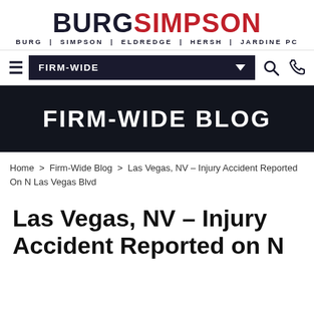BURGSIMPSON BURG | SIMPSON | ELDREDGE | HERSH | JARDINE PC
[Figure (screenshot): Navigation bar with hamburger menu, FIRM-WIDE dropdown, search icon, and phone icon]
FIRM-WIDE BLOG
Home > Firm-Wide Blog > Las Vegas, NV – Injury Accident Reported On N Las Vegas Blvd
Las Vegas, NV – Injury Accident Reported on N